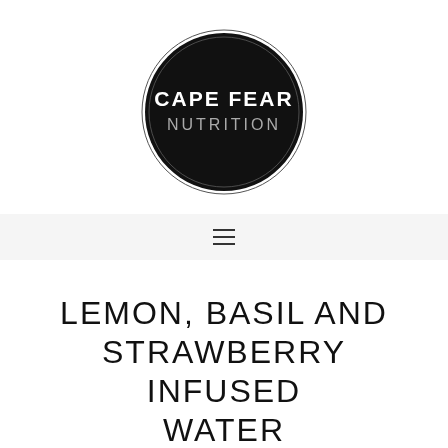[Figure (logo): Cape Fear Nutrition logo — black circle with white text 'CAPE FEAR' and grey text 'NUTRITION']
≡
LEMON, BASIL AND STRAWBERRY INFUSED WATER
AUGUST 10, 2018 BY DIANE BOYD